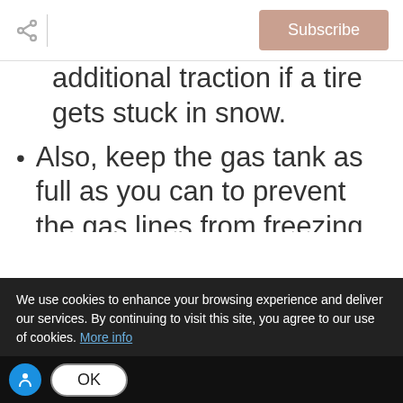Subscribe
additional traction if a tire gets stuck in snow.
Also, keep the gas tank as full as you can to prevent the gas lines from freezing.
10. Know what to do if you get stranded. Don't wander away from
We use cookies to enhance your browsing experience and deliver our services. By continuing to visit this site, you agree to our use of cookies. More info
OK